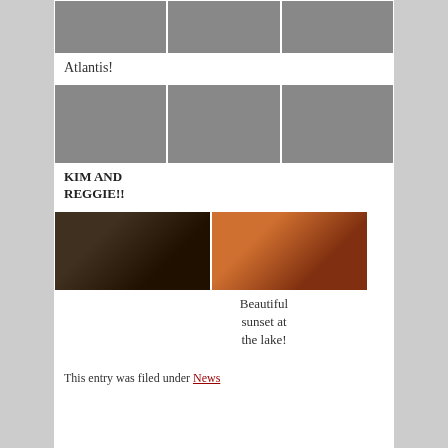[Figure (photo): Three camp photos side by side: group on stage, kids sitting, crowded dining hall]
Atlantis!
[Figure (photo): Three camp photos side by side: indoor gathering, two girls posing outdoors, lake with dock]
KIM AND REGGIE!!
[Figure (photo): Two photos: campfire by lake, colorful sunset over lake]
Beautiful sunset at the lake!
This entry was filed under News